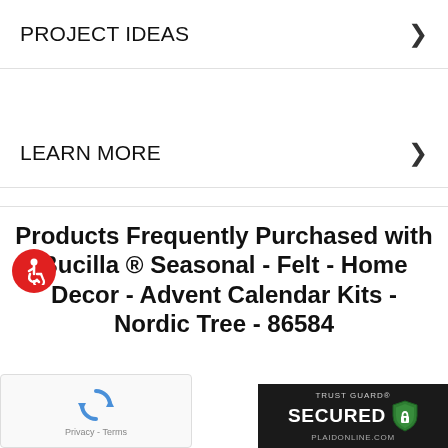PROJECT IDEAS
LEARN MORE
Products Frequently Purchased with Bucilla ® Seasonal - Felt - Home Decor - Advent Calendar Kits - Nordic Tree - 86584
[Figure (logo): Trust Guard Secured badge with shield icon and PLAIDONLINE.COM url]
[Figure (other): reCAPTCHA widget with Privacy and Terms links]
[Figure (other): Accessibility icon (wheelchair symbol) in red circle]